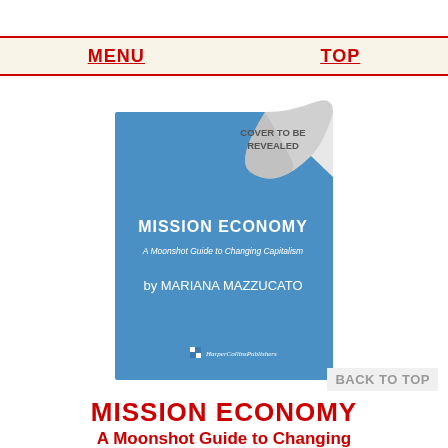MENU    TOP
[Figure (illustration): Book cover for Mission Economy: A Moonshot Guide to Changing Capitalism by Mariana Mazzucato, published by HarperCollins Publishers. The cover is blue with a page-curl effect in the upper right corner showing 'COVER TO BE REVEALED'.]
BACK TO TOP
MISSION ECONOMY
A Moonshot Guide to Changing